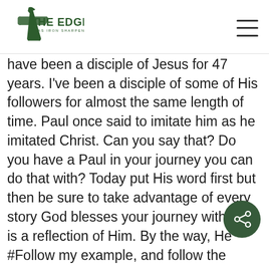The Edge — As Iron Sharpens Iron
have been a disciple of Jesus for 47 years. I've been a disciple of some of His followers for almost the same length of time. Paul once said to imitate him as he imitated Christ. Can you say that? Do you have a Paul in your journey you can do that with? Today put His word first but then be sure to take advantage of every story God blesses your journey with that is a reflection of Him. By the way, He considers you special so go #BeTheEdge.
#Follow my example, and follow the